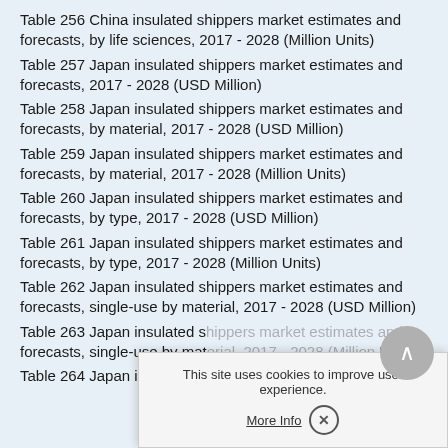Table 256 China insulated shippers market estimates and forecasts, by life sciences, 2017 - 2028 (Million Units)
Table 257 Japan insulated shippers market estimates and forecasts, 2017 - 2028 (USD Million)
Table 258 Japan insulated shippers market estimates and forecasts, by material, 2017 - 2028 (USD Million)
Table 259 Japan insulated shippers market estimates and forecasts, by material, 2017 - 2028 (Million Units)
Table 260 Japan insulated shippers market estimates and forecasts, by type, 2017 - 2028 (USD Million)
Table 261 Japan insulated shippers market estimates and forecasts, by type, 2017 - 2028 (Million Units)
Table 262 Japan insulated shippers market estimates and forecasts, single-use by material, 2017 - 2028 (USD Million)
Table 263 Japan insulated shippers market estimates and forecasts, single-use by material, 2017 - 2028 (Million Units)
Table 264 Japan insulated shippers market estimates and
This site uses cookies to improve user experience.
More Info